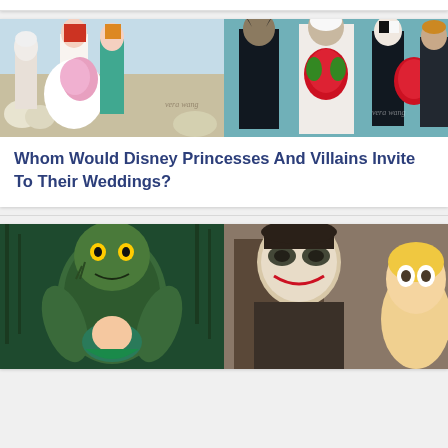[Figure (illustration): Disney characters Ariel and another princess in wedding attire with bouquets at a wedding venue (left); Disney villains including Maleficent as bride with red bouquets (right)]
Whom Would Disney Princesses And Villains Invite To Their Weddings?
[Figure (illustration): Creature from the Black Lagoon cartoon (left); The Joker facing a blonde woman in cartoon style (right)]